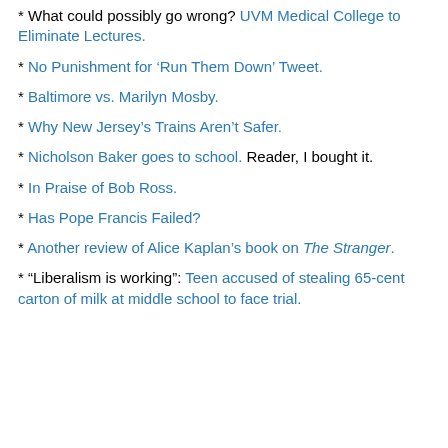* What could possibly go wrong? UVM Medical College to Eliminate Lectures.
* No Punishment for ‘Run Them Down’ Tweet.
* Baltimore vs. Marilyn Mosby.
* Why New Jersey’s Trains Aren’t Safer.
* Nicholson Baker goes to school. Reader, I bought it.
* In Praise of Bob Ross.
* Has Pope Francis Failed?
* Another review of Alice Kaplan’s book on The Stranger.
* “Liberalism is working”: Teen accused of stealing 65-cent carton of milk at middle school to face trial.